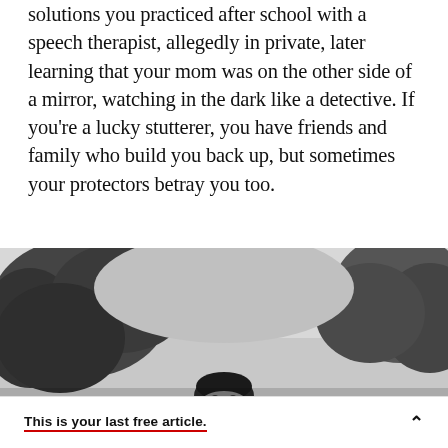solutions you practiced after school with a speech therapist, allegedly in private, later learning that your mom was on the other side of a mirror, watching in the dark like a detective. If you're a lucky stutterer, you have friends and family who build you back up, but sometimes your protectors betray you too.
[Figure (photo): Black and white photograph showing a young man partially visible at the bottom center, surrounded by trees in the background against a light sky.]
This is your last free article.